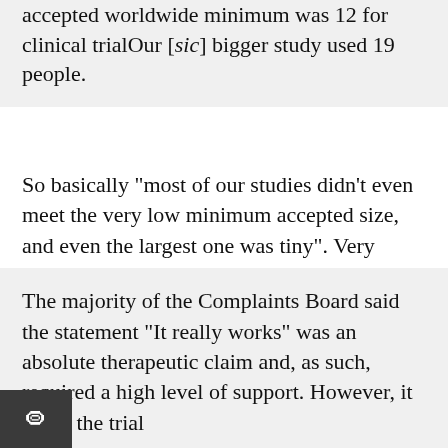accepted worldwide minimum was 12 for clinical trialOur [sic] bigger study used 19 people.
So basically "most of our studies didn't even meet the very low minimum accepted size, and even the largest one was tiny". Very impressive, Miers Laboratories.
The 19 person study they mention is also promoted on their website, and I pre-emptively discussed it in my complaint. It seems the Advertising Standards Complaints Board essentially agreed with my criticisms:
The majority of the Complaints Board said the statement “It really works” was an absolute therapeutic claim and, as such, required a high level of support. However, it noted the trial